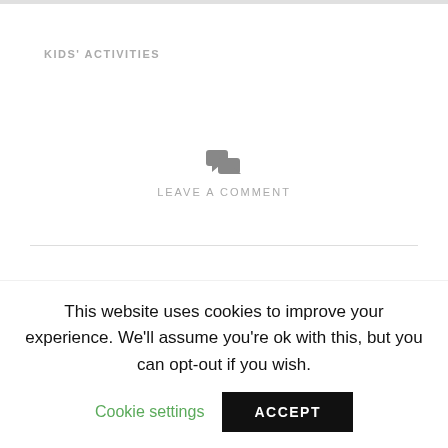KIDS' ACTIVITIES
[Figure (illustration): Two speech bubble comment icons in gray]
LEAVE A COMMENT
HOLIDAY SENSORY PLAY ACTIVITIES
This website uses cookies to improve your experience. We'll assume you're ok with this, but you can opt-out if you wish.
Cookie settings    ACCEPT